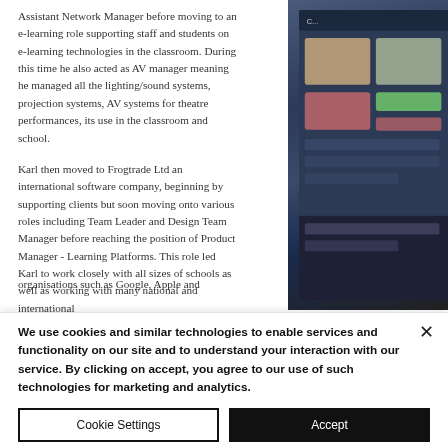Assistant Network Manager before moving to an e-learning role supporting staff and students on e-learning technologies in the classroom. During this time he also acted as AV manager meaning he managed all the lighting/sound systems, projection systems, AV systems for theatre performances, its use in the classroom and school.
[Figure (screenshot): A partially visible screenshot of a software interface or website shown on a dark-tinted monitor/screen, with colorful UI elements visible on dark background.]
Karl then moved to Frogtrade Ltd an international software company, beginning by supporting clients but soon moving onto various roles including Team Leader and Design Team Manager before reaching the position of Product Manager - Learning Platforms. This role led Karl to work closely with all sizes of schools as well as working with many national and international organisations such as Google, Apple and...
We use cookies and similar technologies to enable services and functionality on our site and to understand your interaction with our service. By clicking on accept, you agree to our use of such technologies for marketing and analytics.
Cookie Settings
Accept